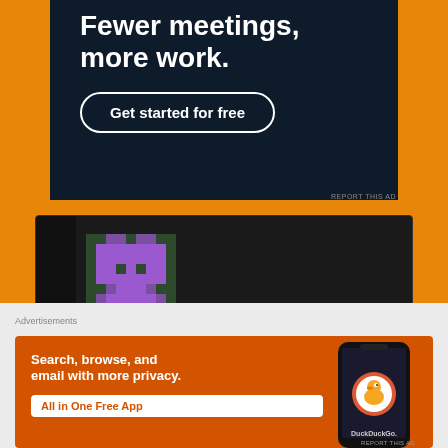[Figure (other): Advertisement banner with dark navy background showing bold white text 'Fewer meetings, more work.' and a rounded border button 'Get started for free']
REPORT THIS AD
[Figure (illustration): Pixel art avatar of a purple robot/character on a dark green background]
James on August 4, 2013 at 8:45 pm said:
how do you propose to get over the strict 3
Advertisements
[Figure (other): DuckDuckGo advertisement on orange/burnt-red background with white text 'Search, browse, and email with more privacy. All in One Free App' and a phone mockup showing DuckDuckGo logo]